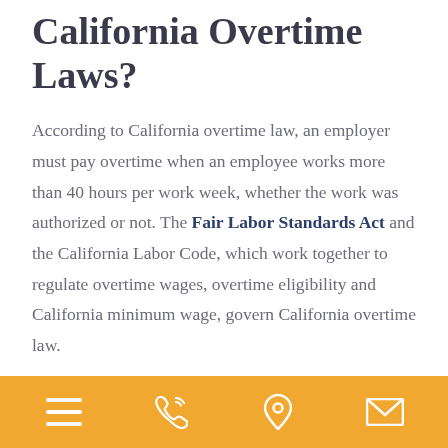California Overtime Laws?
According to California overtime law, an employer must pay overtime when an employee works more than 40 hours per work week, whether the work was authorized or not. The Fair Labor Standards Act and the California Labor Code, which work together to regulate overtime wages, overtime eligibility and California minimum wage, govern California overtime law.
The FLSA considers certain employees to have “overtime
Navigation bar with menu, phone, location, and email icons